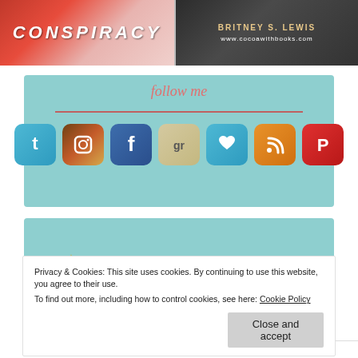[Figure (photo): Top strip: left side shows book cover with 'CONSPIRACY' text in white italic letters on reddish background. Right side shows dark background with author name 'BRITNEY S. LEWIS' in gold and website 'www.cocoawithbooks.com' in white.]
follow me
[Figure (infographic): Row of social media icon buttons: Twitter (blue bird), Instagram (camera), Facebook (blue f), Goodreads (gr on tan), heart/Bloglovin (blue heart), RSS feed (orange), Pinterest (red P)]
[Figure (infographic): Four badge icons: '50 REVIEWS' blue circle badge with gold star border, 'TOP REVIEWER' blue shield/checkmark badge, 'APPROVED' purple hexagon stamp badge, 'NETGALLEY MEMBER PROFESSIONAL READER' green circular badge]
Privacy & Cookies: This site uses cookies. By continuing to use this website, you agree to their use.
To find out more, including how to control cookies, see here: Cookie Policy
Close and accept
tagged: currently-reading